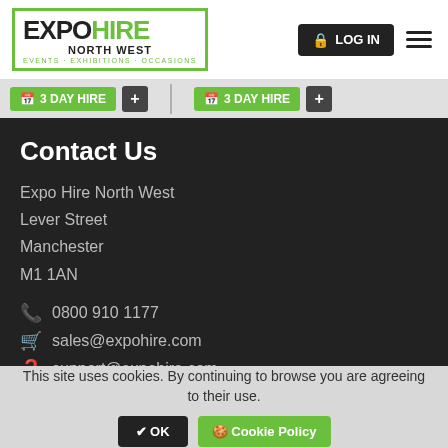EXPO HIRE NORTH WEST | EVENTS · EXHIBITIONS · OCCASIONS | LOG IN
3 DAY HIRE | + | 3 DAY HIRE | +
Contact Us
Expo Hire North West
Lever Street
Manchester
M1 1AN
0800 910 1177
sales@expohire.com
support@expohire.com
accounts@expohire.com
This site uses cookies. By continuing to browse you are agreeing to their use.
✔ OK | 🍪 Cookie Policy